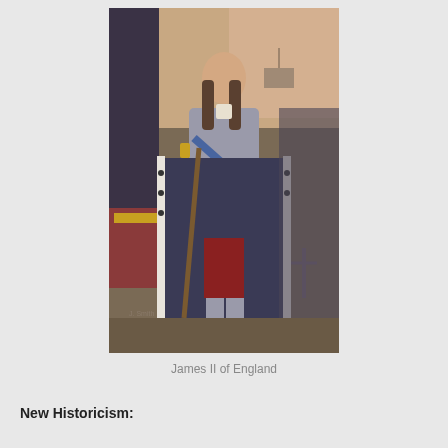[Figure (photo): Portrait painting of James II of England, depicted in full-length standing pose wearing armor with a blue sash, dark blue royal robes trimmed with ermine, holding a staff/scepter, with a crown visible to his left and ships visible in the background.]
James II of England
New Historicism: